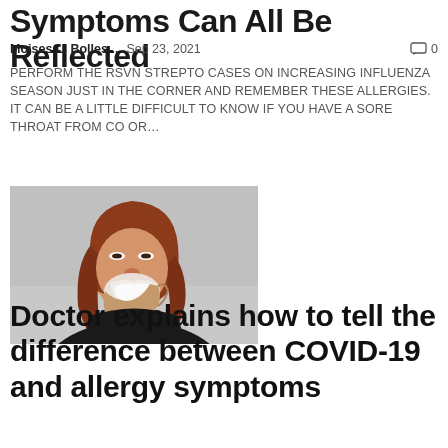Symptoms Can All Be Reflected
Moises L. Bolles...   Sep 23, 2021   🗨 0
PERFORM THE RSVN STREPTO CASES ON INCREASING INFLUENZA SEASON JUST IN THE CORNER AND REMEMBER THESE ALLERGIES. IT CAN BE A LITTLE DIFFICULT TO KNOW IF YOU HAVE A SORE THROAT FROM CO OR...
[Figure (photo): A woman with red/auburn hair blowing her nose with a tissue, wearing a black top, sitting in an office-like setting.]
Doctor explains how to tell the difference between COVID-19 and allergy symptoms